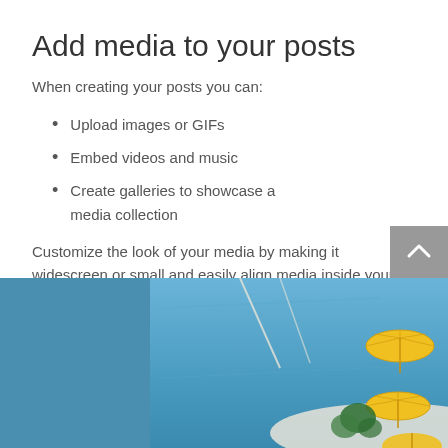Add media to your posts
When creating your posts you can:
Upload images or GIFs
Embed videos and music
Create galleries to showcase a media collection
Customize the look of your media by making it widescreen or small and easily align media inside your posts.
[Figure (photo): Aerial view of a beach with blue water and yellow umbrellas]